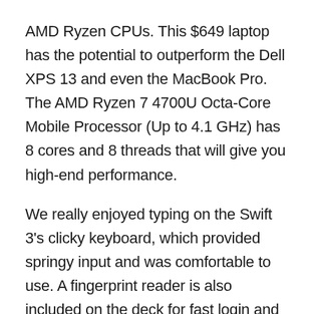AMD Ryzen CPUs. This $649 laptop has the potential to outperform the Dell XPS 13 and even the MacBook Pro. The AMD Ryzen 7 4700U Octa-Core Mobile Processor (Up to 4.1 GHz) has 8 cores and 8 threads that will give you high-end performance.
We really enjoyed typing on the Swift 3's clicky keyboard, which provided springy input and was comfortable to use. A fingerprint reader is also included on the deck for fast login and the frame is made of aluminum and magnesium rather than plastic. The Swift 3's greatest flaw is its dark and drab display. If it isn't a problem for